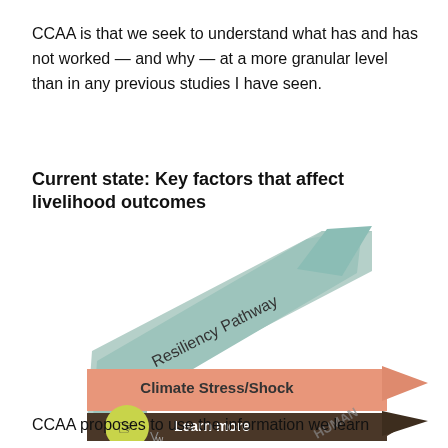CCAA is that we seek to understand what has and has not worked — and why — at a more granular level than in any previous studies I have seen.
[Figure (infographic): Infographic titled 'Current state: Key factors that affect livelihood outcomes' showing a green diagonal arrow labeled 'Resiliency Pathway' pointing up-right, a salmon/coral horizontal arrow labeled 'Climate Stress/Shock', a dark brown horizontal arrow with a 'Learn more' label and a cursor hand icon in a yellow circle, and partial labels including 'HUMAN' visible at bottom right.]
CCAA proposes to use the information we learn